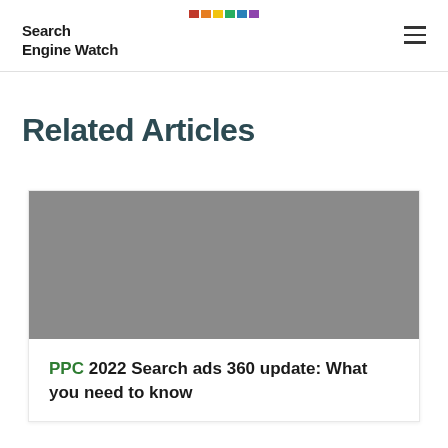Search Engine Watch
Related Articles
[Figure (photo): Gray placeholder image for article thumbnail]
PPC 2022 Search ads 360 update: What you need to know